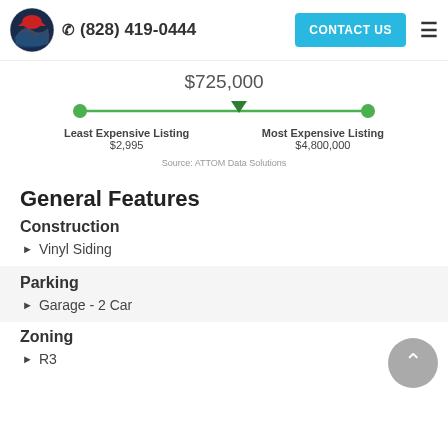(828) 419-0444  CONTACT US
[Figure (infographic): Price range slider showing $725,000 between Least Expensive Listing $2,995 and Most Expensive Listing $4,800,000]
Source: ATTOM Data Solutions
General Features
Construction
Vinyl Siding
Parking
Garage - 2 Car
Zoning
R3